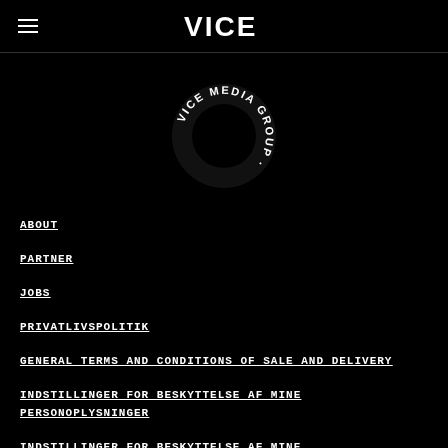VICE
[Figure (logo): VICE MEDIA GROUP circular logo with text arranged in a circle around a dark center]
ABOUT
PARTNER
JOBS
PRIVATLIVSPOLITIK
GENERAL TERMS AND CONDITIONS OF SALE AND DELIVERY
INDSTILLINGER FOR BESKYTTELSE AF MINE PERSONOPLYSNINGER
INDSTILLINGER FOR BESKYTTELSE AF MINE PERSONOPLYSNINGER